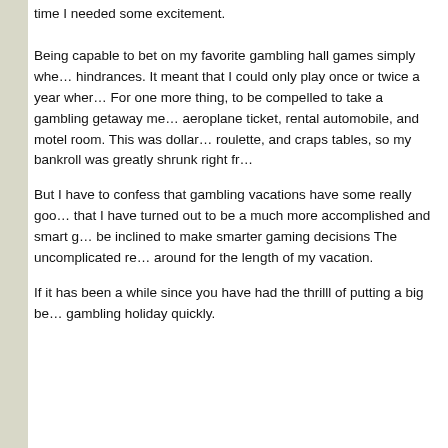time I needed some excitement. Being capable to bet on my favorite gambling hall games simply whe... hindrances. It meant that I could only play once or twice a year wher... For one more thing, to be compelled to take a gambling getaway me... aeroplane ticket, rental automobile, and motel room. This was dollar... roulette, and craps tables, so my bankroll was greatly shrunk right fr...
But I have to confess that gambling vacations have some really goo... that I have turned out to be a much more accomplished and smart g... be inclined to make smarter gaming decisions The uncomplicated re... around for the length of my vacation.
If it has been a while since you have had the thrilll of putting a big be... gambling holiday quickly.
Leave a Reply
You must be logged in to post a comment.